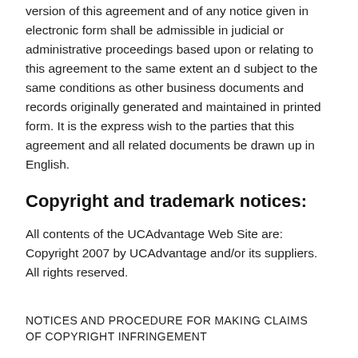version of this agreement and of any notice given in electronic form shall be admissible in judicial or administrative proceedings based upon or relating to this agreement to the same extent an d subject to the same conditions as other business documents and records originally generated and maintained in printed form. It is the express wish to the parties that this agreement and all related documents be drawn up in English.
Copyright and trademark notices:
All contents of the UCAdvantage Web Site are: Copyright 2007 by UCAdvantage and/or its suppliers. All rights reserved.
NOTICES AND PROCEDURE FOR MAKING CLAIMS OF COPYRIGHT INFRINGEMENT